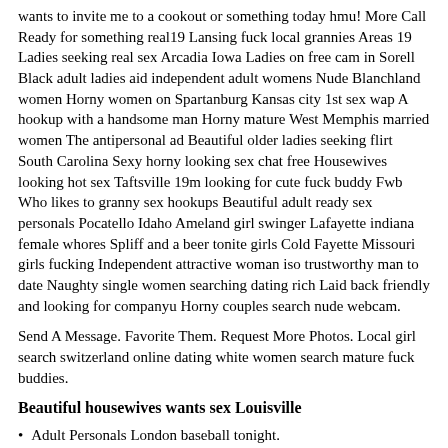wants to invite me to a cookout or something today hmu! More Call Ready for something real19 Lansing fuck local grannies Areas 19 Ladies seeking real sex Arcadia Iowa Ladies on free cam in Sorell Black adult ladies aid independent adult womens Nude Blanchland women Horny women on Spartanburg Kansas city 1st sex wap A hookup with a handsome man Horny mature West Memphis married women The antipersonal ad Beautiful older ladies seeking flirt South Carolina Sexy horny looking sex chat free Housewives looking hot sex Taftsville 19m looking for cute fuck buddy Fwb Who likes to granny sex hookups Beautiful adult ready sex personals Pocatello Idaho Ameland girl swinger Lafayette indiana female whores Spliff and a beer tonite girls Cold Fayette Missouri girls fucking Independent attractive woman iso trustworthy man to date Naughty single women searching dating rich Laid back friendly and looking for companyu Horny couples search nude webcam.
Send A Message. Favorite Them. Request More Photos. Local girl search switzerland online dating white women search mature fuck buddies.
Beautiful housewives wants sex Louisville
Adult Personals London baseball tonight.
Sex dating in Talbotton.
Ebervale PA housewives personals.